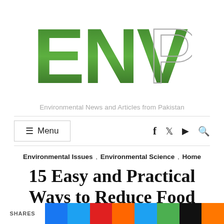[Figure (logo): ENVPK logo — 'ENV' in dark green 3D block letters, 'PK' in gray outline letters]
Environmental News and Articles from Pakistan
☰ Menu  f  𝕏  ▶  🔍
Environmental Issues , Environmental Science , Home
15 Easy and Practical Ways to Reduce Food Waste
SHARES